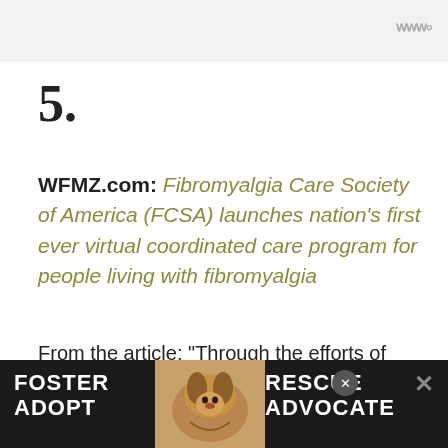5.
WFMZ.com: Fibromyalgia Care Society of America (FCSA) launches nation's first ever virtual coordinated care program for people living with fibromyalgia
From the article: “Through the efforts of Fibromyalgia Care Society of America’s virtual coordinated care program, we are revolutionizing how our community is ca...
[Figure (photo): Advertisement banner with dog image: FOSTER ADOPT / RESCUE ADVOCATE text with a dog photo in the center]